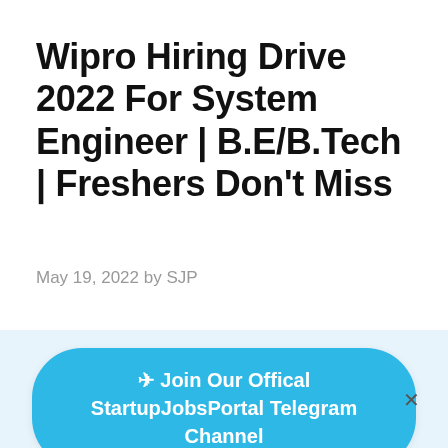Wipro Hiring Drive 2022 For System Engineer | B.E/B.Tech | Freshers Don't Miss
May 19, 2022 by SJP
[Figure (other): A popup banner with a rounded blue button reading '✈ Join Our Offical StartupJobsPortal Telegram Channel' on a light blue background, with an X close button on the right.]